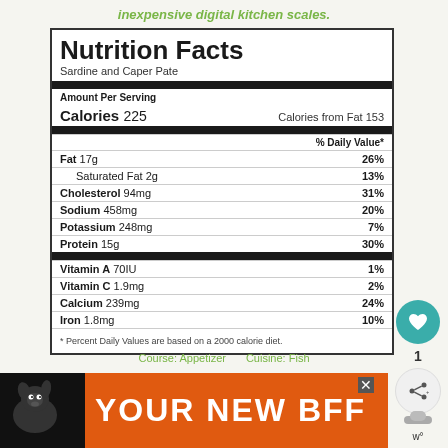inexpensive digital kitchen scales.
| Nutrition Facts |
| Sardine and Caper Pate |
| Amount Per Serving |
| Calories 225 | Calories from Fat 153 |
| % Daily Value* |
| Fat 17g | 26% |
| Saturated Fat 2g | 13% |
| Cholesterol 94mg | 31% |
| Sodium 458mg | 20% |
| Potassium 248mg | 7% |
| Protein 15g | 30% |
| Vitamin A 70IU | 1% |
| Vitamin C 1.9mg | 2% |
| Calcium 239mg | 24% |
| Iron 1.8mg | 10% |
* Percent Daily Values are based on a 2000 calorie diet.
[Figure (other): Advertisement banner: dog image on left with text YOUR NEW BFF on orange background]
Course: Appetizer   Cuisine: Fish